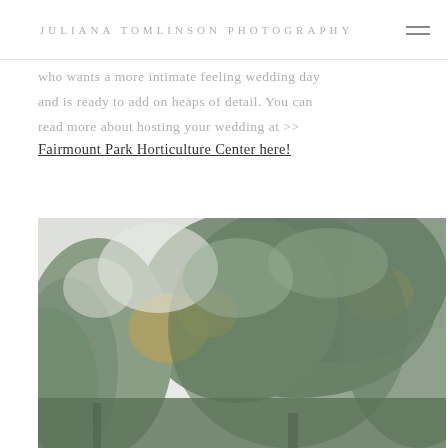JULIANA TOMLINSON PHOTOGRAPHY
who wants a more intimate feeling wedding day and is ready to add on heaps of detail. You can read more about hosting your wedding at >>
Fairmount Park Horticulture Center here!
[Figure (photo): Outdoor photograph looking upward at tall conifer trees with green and golden foliage against a bright overcast sky]